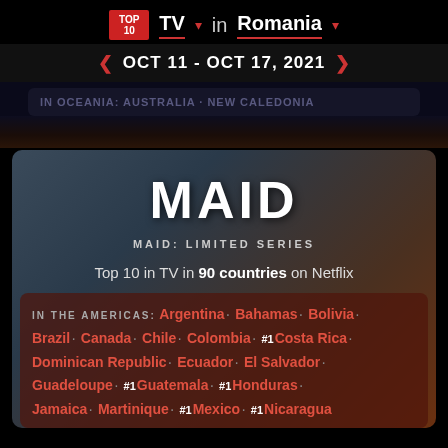TOP 10 TV in Romania
OCT 11 - OCT 17, 2021
MAID
MAID: LIMITED SERIES
Top 10 in TV in 90 countries on Netflix
IN THE AMERICAS: Argentina · Bahamas · Bolivia · Brazil · Canada · Chile · Colombia · #1 Costa Rica · Dominican Republic · Ecuador · El Salvador · Guadeloupe · #1 Guatemala · #1 Honduras · Jamaica · Martinique · #1 Mexico · #1 Nicaragua